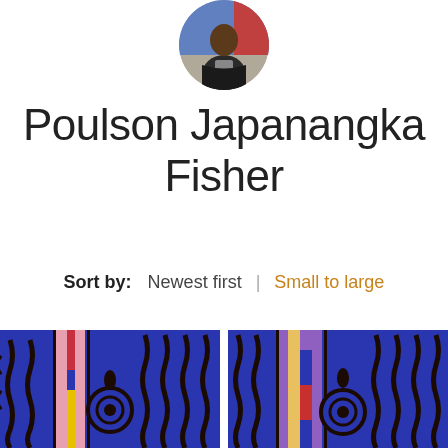[Figure (photo): Circular profile photo of Poulson Japanangka Fisher, a man wearing a dark jacket, with colorful artwork visible in the background]
Poulson Japanangka Fisher
Sort by:   Newest first  |  Small to large
[Figure (photo): Two Aboriginal artworks side by side on a blue background featuring dark wavy lines, concentric circles, and colorful vertical bands in pink, red, yellow, and purple on a cobalt blue background]
[Figure (photo): Aboriginal artwork with cobalt blue background, dark wavy line patterns, concentric circles, and colorful vertical bands in purple, yellow, gold, and red]